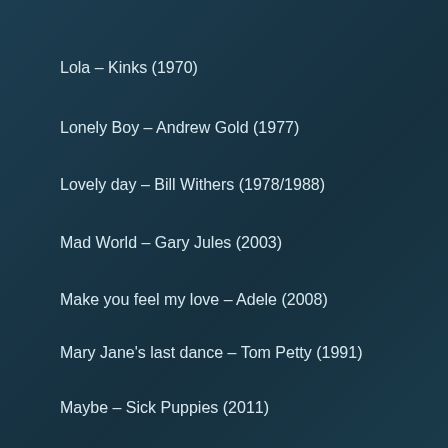Lola – Kinks (1970)
Lonely Boy – Andrew Gold (1977)
Lovely day – Bill Withers (1978/1988)
Mad World – Gary Jules (2003)
Make you feel my love – Adele (2008)
Mary Jane's last dance – Tom Petty (1991)
Maybe – Sick Puppies (2011)
Message in a bottle – The Police (1979)
Michel – Anouk (2000)
Midnight in Chelsea – Jon Bon Jovi (1997)
Missing you – John Waite (1984)